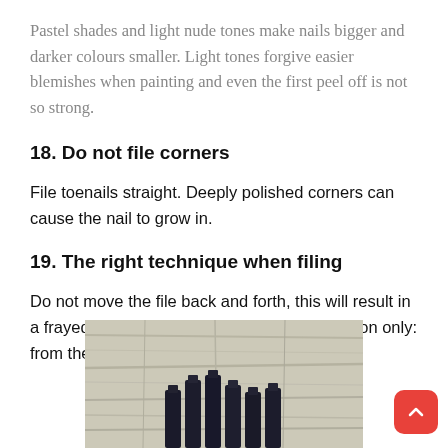Pastel shades and light nude tones make nails bigger and darker colours smaller. Light tones forgive easier blemishes when painting and even the first peel off is not so strong.
18. Do not file corners
File toenails straight. Deeply polished corners can cause the nail to grow in.
19. The right technique when filing
Do not move the file back and forth, this will result in a frayed nail edge. Always work in one direction only: from the corner to the middle.
[Figure (photo): Photo of several dark nail polish bottles arranged on a light wooden surface]